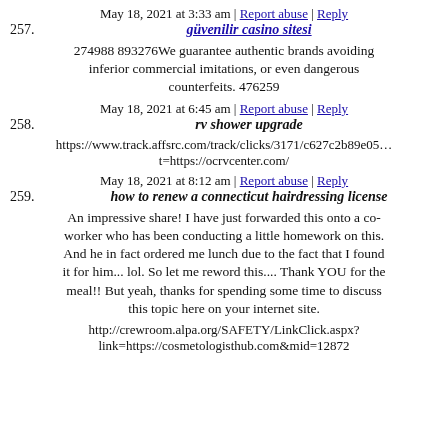May 18, 2021 at 3:33 am | Report abuse | Reply
257. güvenilir casino sitesi
274988 893276We guarantee authentic brands avoiding inferior commercial imitations, or even dangerous counterfeits. 476259
May 18, 2021 at 6:45 am | Report abuse | Reply
258. rv shower upgrade
https://www.track.affsrc.com/track/clicks/3171/c627c2b89e05... t=https://ocrvcenter.com/
May 18, 2021 at 8:12 am | Report abuse | Reply
259. how to renew a connecticut hairdressing license
An impressive share! I have just forwarded this onto a co-worker who has been conducting a little homework on this. And he in fact ordered me lunch due to the fact that I found it for him... lol. So let me reword this.... Thank YOU for the meal!! But yeah, thanks for spending some time to discuss this topic here on your internet site.
http://crewroom.alpa.org/SAFETY/LinkClick.aspx?link=https://cosmetologisthub.com&mid=12872